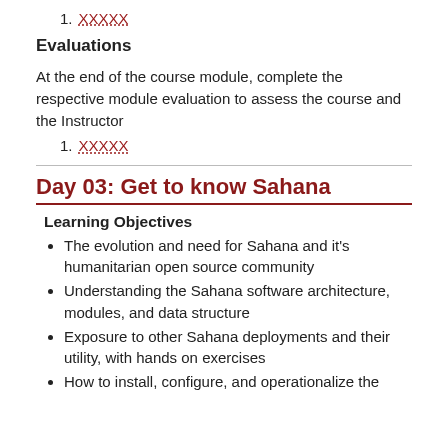1. XXXXX
Evaluations
At the end of the course module, complete the respective module evaluation to assess the course and the Instructor
1. XXXXX
Day 03: Get to know Sahana
Learning Objectives
The evolution and need for Sahana and it's humanitarian open source community
Understanding the Sahana software architecture, modules, and data structure
Exposure to other Sahana deployments and their utility, with hands on exercises
How to install, configure, and operationalize the